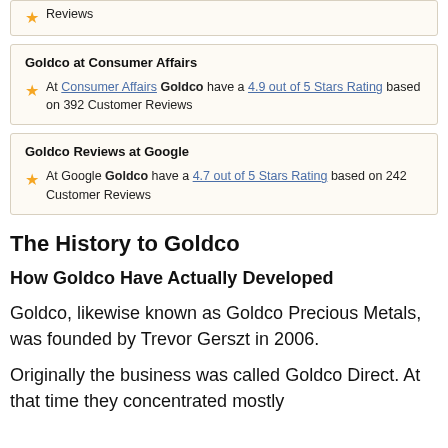Reviews
Goldco at Consumer Affairs
At Consumer Affairs Goldco have a 4.9 out of 5 Stars Rating based on 392 Customer Reviews
Goldco Reviews at Google
At Google Goldco have a 4.7 out of 5 Stars Rating based on 242 Customer Reviews
The History to Goldco
How Goldco Have Actually Developed
Goldco, likewise known as Goldco Precious Metals, was founded by Trevor Gerszt in 2006.
Originally the business was called Goldco Direct. At that time they concentrated mostly